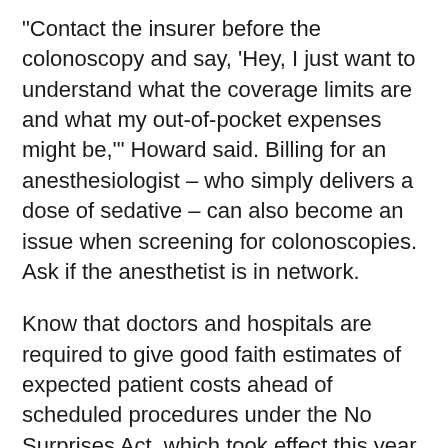“Contact the insurer before the colonoscopy and say, ‘Hey, I just want to understand what the coverage limits are and what my out-of-pocket expenses might be,’” Howard said. Billing for an anesthesiologist – who simply delivers a dose of sedative – can also become an issue when screening for colonoscopies. Ask if the anesthetist is in network.
Know that doctors and hospitals are required to give good faith estimates of expected patient costs ahead of scheduled procedures under the No Surprises Act, which took effect this year.
Take the time to read all the documents you need to sign and prepare your antennas for problems.